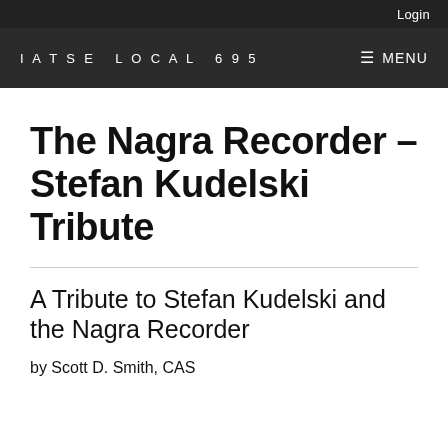Login
IATSE LOCAL 695  ≡ MENU
The Nagra Recorder – Stefan Kudelski Tribute
A Tribute to Stefan Kudelski and the Nagra Recorder
by Scott D. Smith, CAS